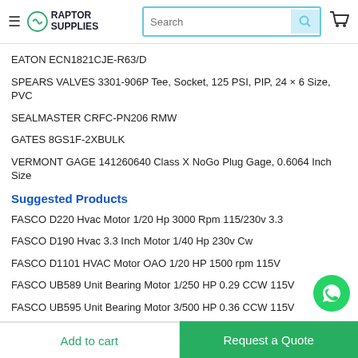Raptor Supplies — Search bar and cart icon
EATON ECN1821CJE-R63/D
SPEARS VALVES 3301-906P Tee, Socket, 125 PSI, PIP, 24 × 6 Size, PVC
SEALMASTER CRFC-PN206 RMW
GATES 8GS1F-2XBULK
VERMONT GAGE 141260640 Class X NoGo Plug Gage, 0.6064 Inch Size
Suggested Products
FASCO D220 Hvac Motor 1/20 Hp 3000 Rpm 115/230v 3.3
FASCO D190 Hvac 3.3 Inch Motor 1/40 Hp 230v Cw
FASCO D1101 HVAC Motor OAO 1/20 HP 1500 rpm 115V
FASCO UB589 Unit Bearing Motor 1/250 HP 0.29 CCW 115V
FASCO UB595 Unit Bearing Motor 3/500 HP 0.36 CCW 115V
Destaco Products
Add to cart | Request a Quote